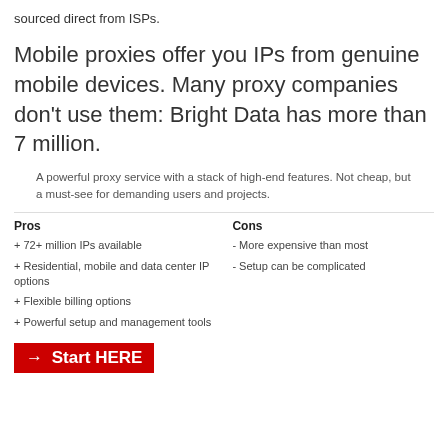sourced direct from ISPs.
Mobile proxies offer you IPs from genuine mobile devices. Many proxy companies don't use them: Bright Data has more than 7 million.
A powerful proxy service with a stack of high-end features. Not cheap, but a must-see for demanding users and projects.
Pros
+ 72+ million IPs available
+ Residential, mobile and data center IP options
+ Flexible billing options
+ Powerful setup and management tools
Cons
- More expensive than most
- Setup can be complicated
-> Start HERE